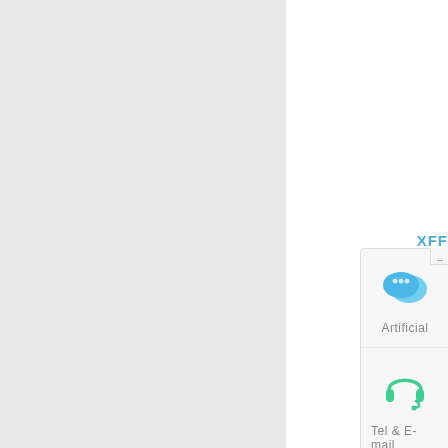[Figure (screenshot): Left grey panel occupying roughly 60% of the page width]
[Figure (screenshot): Right white panel with a floating widget UI showing WeChat-style chat icon labeled 'Artificial', a headset icon labeled 'Tel & E-mail', and an up-arrow button. Also shows 'XFF' text in blue and dotted separator lines.]